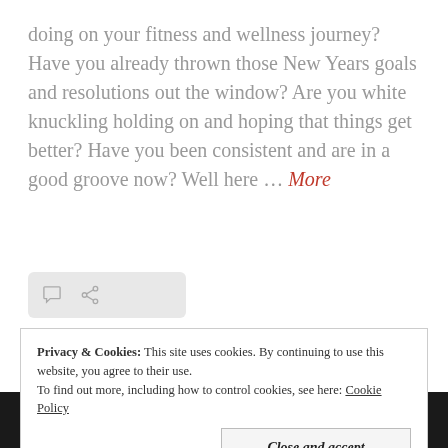doing on your fitness and wellness journey? Have you already thrown those New Years goals and resolutions out the window? Are you white knuckling holding on and hoping that things get better? Have you been consistent and are in a good groove now? Well here … More
[Figure (other): A light gray rounded rectangle icon bar with a comment bubble icon and a share/link icon]
Privacy & Cookies: This site uses cookies. By continuing to use this website, you agree to their use. To find out more, including how to control cookies, see here: Cookie Policy
[Figure (other): Bottom dark banner with partial text reading 'Consistei' in large bold serif white letters, partially cropped]